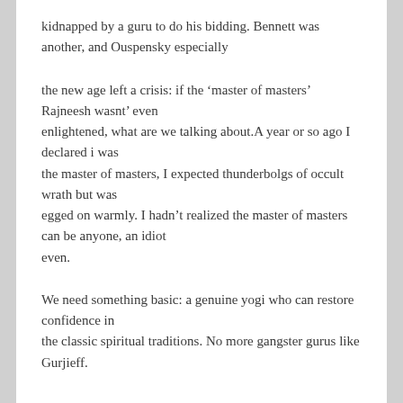kidnapped by a guru to do his bidding. Bennett was another, and Ouspensky especially
the new age left a crisis: if the ‘master of masters’ Rajneesh wasnt’ even enlightened, what are we talking about.A year or so ago I declared i was the master of masters, I expected thunderbolgs of occult wrath but was egged on warmly. I hadn’t realized the master of masters can be anyone, an idiot even.
We need something basic: a genuine yogi who can restore confidence in the classic spiritual traditions. No more gangster gurus like Gurjieff.